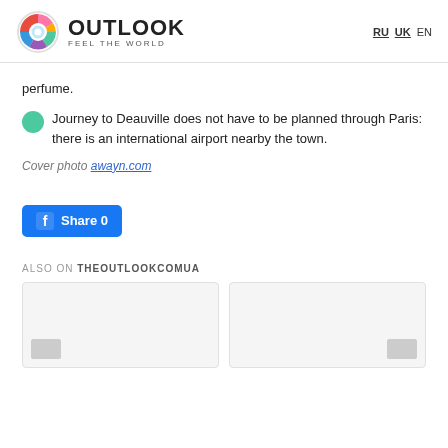OUTLOOK FEEL THE WORLD | RU UK EN
perfume.
Journey to Deauville does not have to be planned through Paris: there is an international airport nearby the town.
Cover photo awayn.com
[Figure (other): Facebook Share button with count 0]
ALSO ON THEOUTLOOKCOMUA
[Figure (other): Two article card thumbnails in a row]